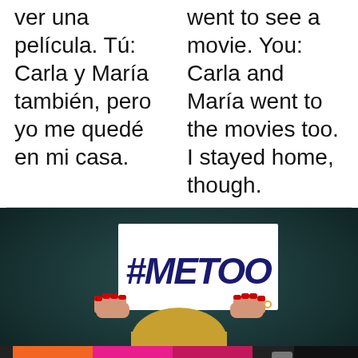ver una película. Tú: Carla y María también, pero yo me quedé en mi casa.
went to see a movie. You: Carla and María went to the movies too. I stayed home, though.
[Figure (photo): Person holding a white sign that reads #METOO in large dark italic letters, photographed against a dark teal/green background. Only the person's hands (with red nail polish) and blonde hair are visible below the sign. A colorful advertisement banner at the bottom reads 'We stand with you.' with orange, pink, and purple color blocks.]